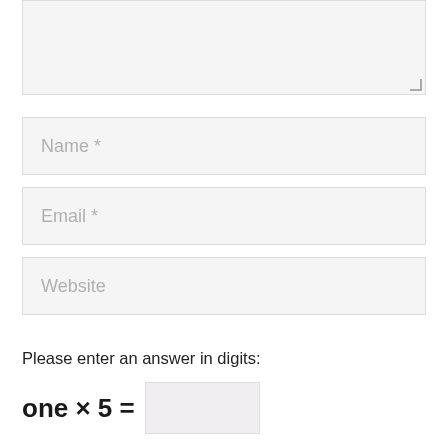[Figure (other): Textarea input field with resize handle in bottom-right corner, light gray background]
Name *
Email *
Website
Please enter an answer in digits: